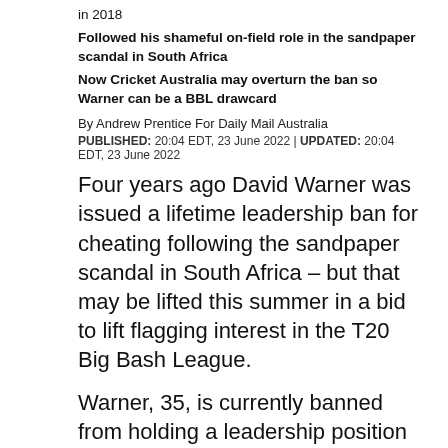in 2018
Followed his shameful on-field role in the sandpaper scandal in South Africa
Now Cricket Australia may overturn the ban so Warner can be a BBL drawcard
By Andrew Prentice For Daily Mail Australia
PUBLISHED: 20:04 EDT, 23 June 2022 | UPDATED: 20:04 EDT, 23 June 2022
Four years ago David Warner was issued a lifetime leadership ban for cheating following the sandpaper scandal in South Africa – but that may be lifted this summer in a bid to lift flagging interest in the T20 Big Bash League.
Warner, 35, is currently banned from holding a leadership position of any kind in Australian cricket after he was deemed to be the chief architect of the shameful scenes during a spiteful Test match in Cape Town.
The dynamic batsman was the supposed mastermind behind the plan, which saw Cameron Bancroft caught on camera using sandpaper to illegally alter the